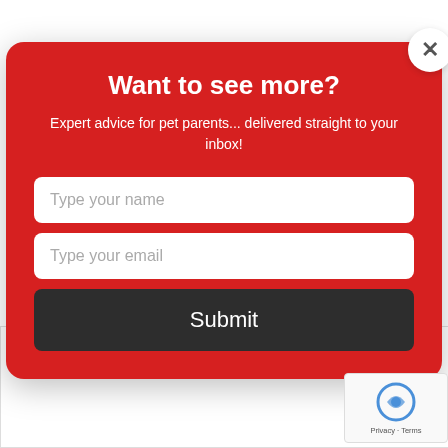[Figure (screenshot): A newsletter signup modal popup with a red background. Title reads 'Want to see more?', subtitle says 'Expert advice for pet parents... delivered straight to your inbox!', with two input fields (Type your name, Type your email) and a dark Submit button. A white circular close button (X) is in the top-right corner. Below the modal is a partial white content area with a reCAPTCHA badge visible in the bottom-right.]